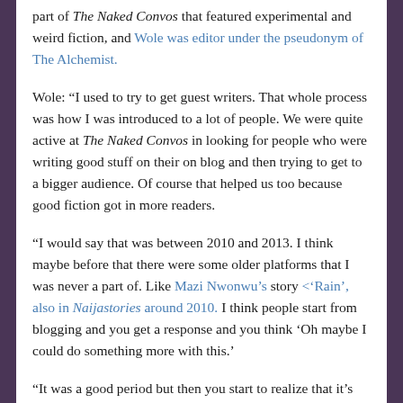part of The Naked Convos that featured experimental and weird fiction, and Wole was editor under the pseudonym of The Alchemist.
Wole: “I used to try to get guest writers. That whole process was how I was introduced to a lot of people. We were quite active at The Naked Convos in looking for people who were writing good stuff on their on blog and then trying to get to a bigger audience. Of course that helped us too because good fiction got in more readers.
“I would say that was between 2010 and 2013. I think maybe before that there were some older platforms that I was never a part of. Like Mazi Nwonwu’s story ‘Rain’, also in Naijastories around 2010. I think people start from blogging and you get a response and you think ‘Oh maybe I could do something more with this.’
“It was a good period but then you start to realize that it’s one thing just to whip out something from your brain that’s kind of cool but it’s another thing to edit it properly, make sure the plot you had in your head comes across. We were all stumbling through. Good first drafts were what were getting